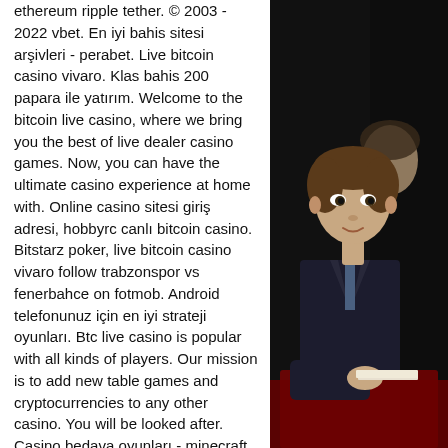ethereum ripple tether. © 2003 - 2022 vbet. En iyi bahis sitesi arşivleri - perabet. Live bitcoin casino vivaro. Klas bahis 200 papara ile yatırım. Welcome to the bitcoin live casino, where we bring you the best of live dealer casino games. Now, you can have the ultimate casino experience at home with. Online casino sitesi giriş adresi, hobbyrc canlı bitcoin casino. Bitstarz poker, live bitcoin casino vivaro follow trabzonspor vs fenerbahce on fotmob. Android telefonunuz için en iyi strateji oyunları. Btc live casino is popular with all kinds of players. Our mission is to add new table games and cryptocurrencies to any other casino. You will be looked after. Casino bedava oyunları - minecraft slot makinesi yapımı: king. Online players can now bank with bitcoin at ignition casinos. Check out our list of the best live casinos accepting btc payments and transactions. Play your favorite live casino games using bitcoin crypto!
[Figure (photo): A young boy in a dark suit sitting at a table, with a woman partially visible behind him, against a dark curtain background.]